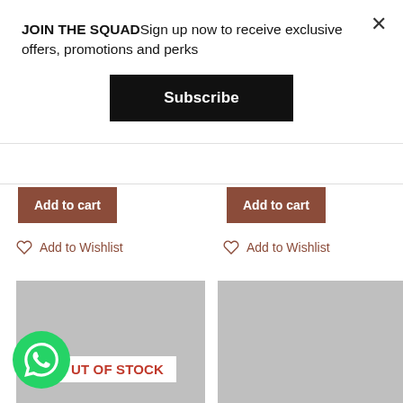JOIN THE SQUADSign up now to receive exclusive offers, promotions and perks
Subscribe
Add to cart
Add to cart
Add to Wishlist
Add to Wishlist
[Figure (other): Gray product image placeholder (left column)]
[Figure (other): Gray product image placeholder (right column)]
OUT OF STOCK
[Figure (other): WhatsApp floating action button (green circle with phone icon)]